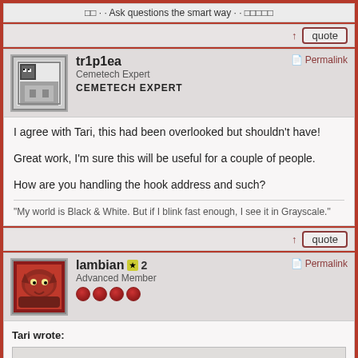□□ · · Ask questions the smart way · · □□□□□
↑ quote
tr1p1ea
Cemetech Expert
CEMETECH EXPERT
Permalink
I agree with Tari, this had been overlooked but shouldn't have!

Great work, I'm sure this will be useful for a couple of people.

How are you handling the hook address and such?
"My world is Black & White. But if I blink fast enough, I see it in Grayscale."
↑ quote
lambian 2
Advanced Member
Permalink
Tari wrote:
Nobody ever commented on this, which seems sad. It's pretty cool! I feel like the most common exponents aren't hard to remember, though the small end is a little difficult more difficult (nano-, pico-).

Any chance of uploading precompiled binaries to the archives rather than requiring users to build it themselves?
I agree that it isn't hard to remember, but I was asked to do it and it didn't